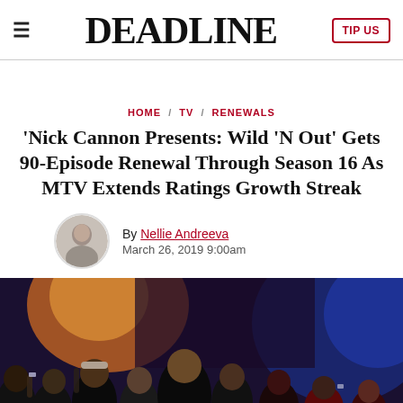DEADLINE
HOME / TV / RENEWALS
'Nick Cannon Presents: Wild 'N Out' Gets 90-Episode Renewal Through Season 16 As MTV Extends Ratings Growth Streak
By Nellie Andreeva
March 26, 2019 9:00am
[Figure (photo): Group of performers on stage at Nick Cannon Presents Wild 'N Out, with colorful stage lighting in background]